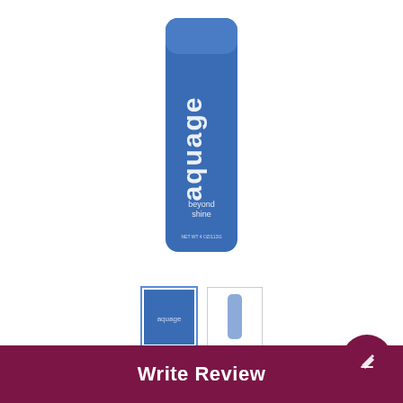[Figure (photo): Aquage Beyond Shine hair product bottle, blue cylindrical container with white 'aquage' branding and 'beyond shine' text]
[Figure (photo): Two product thumbnail images: left selected thumbnail showing blue texture, right thumbnail showing the full blue bottle]
85% would repurchase
4.3/5 package quality
$$$SS price range
Write Review